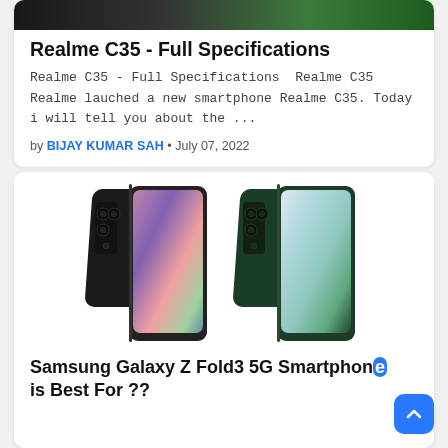[Figure (screenshot): Cropped banner image showing smartphones at top of first card]
Realme C35 - Full Specifications
Realme C35 - Full Specifications  Realme C35 Realme lauched a new smartphone Realme C35. Today i will tell you about the ...
by BIJAY KUMAR SAH • July 07, 2022
[Figure (photo): Two Samsung Galaxy Z Fold3 5G smartphones side by side — one in black, one in dark green — shown folded at an angle]
Samsung Galaxy Z Fold3 5G Smartphone is Best For ??